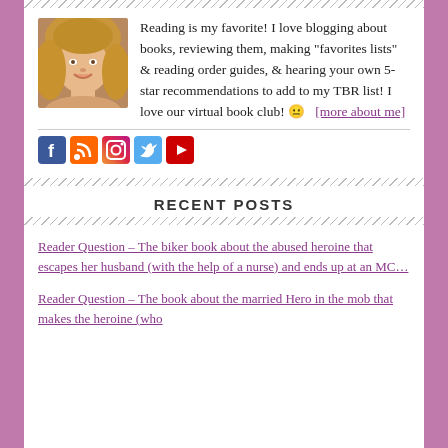[Figure (photo): Photo of a smiling woman with long blonde hair]
Reading is my favorite! I love blogging about books, reviewing them, making "favorites lists" & reading order guides, & hearing your own 5-star recommendations to add to my TBR list! I love our virtual book club! 😐  [more about me]
[Figure (infographic): Row of social media icons: Facebook, RSS, Instagram, Twitter, YouTube]
RECENT POSTS
Reader Question – The biker book about the abused heroine that escapes her husband (with the help of a nurse) and ends up at an MC…
Reader Question – The book about the married Hero in the mob that makes the heroine (who